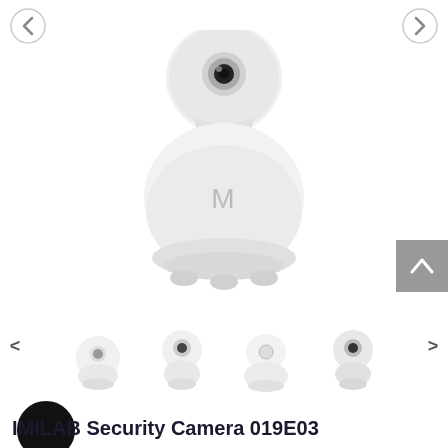[Figure (photo): White smart security camera (IMILAB) shown from front-side angle, with rounded pan-tilt base featuring the letter M logo, on white background. Navigation arrows on top-left and top-right corners.]
[Figure (photo): Thumbnail strip showing four views of IMILAB security camera models, with left and right navigation chevrons.]
[Figure (logo): IMILAB circular black logo (O shape)]
IMILAB Security Camera 019E03